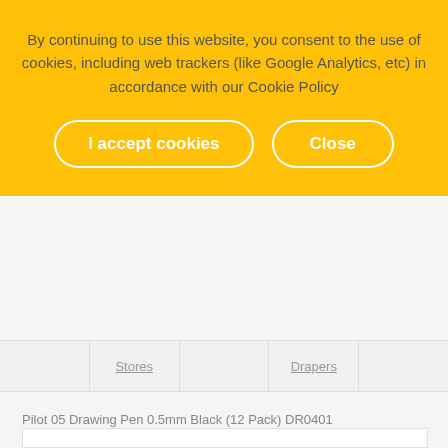By continuing to use this website, you consent to the use of cookies, including web trackers (like Google Analytics, etc) in accordance with our Cookie Policy
I accept cookies
Close
Pilot 05 Drawing Pen 0.5mm Black (12 Pack) DR0401
[Figure (other): White product image area box, empty/blank]